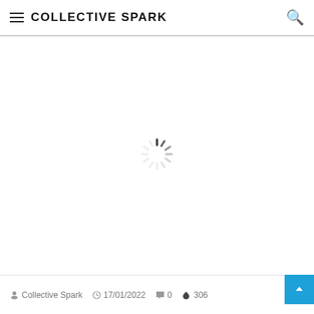COLLECTIVE SPARK
[Figure (other): Loading spinner — a circular spinner icon made of short radial lines arranged in a sunburst/clock pattern, center of the page]
Collective Spark  17/01/2022  0  306